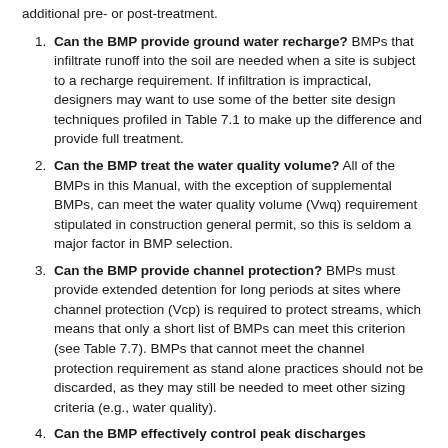additional pre- or post-treatment.
Can the BMP provide ground water recharge? BMPs that infiltrate runoff into the soil are needed when a site is subject to a recharge requirement. If infiltration is impractical, designers may want to use some of the better site design techniques profiled in Table 7.1 to make up the difference and provide full treatment.
Can the BMP treat the water quality volume? All of the BMPs in this Manual, with the exception of supplemental BMPs, can meet the water quality volume (Vwq) requirement stipulated in construction general permit, so this is seldom a major factor in BMP selection.
Can the BMP provide channel protection? BMPs must provide extended detention for long periods at sites where channel protection (Vcp) is required to protect streams, which means that only a short list of BMPs can meet this criterion (see Table 7.7). BMPs that cannot meet the channel protection requirement as stand alone practices should not be discarded, as they may still be needed to meet other sizing criteria (e.g., water quality).
Can the BMP effectively control peak discharges